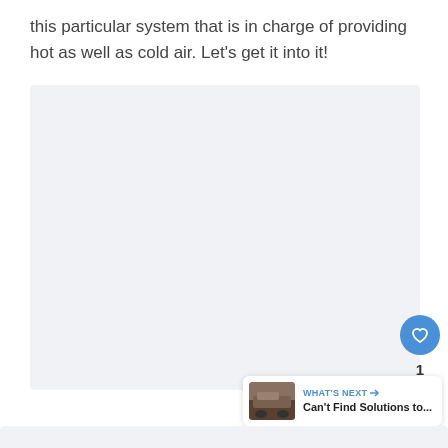this particular system that is in charge of providing hot as well as cold air. Let's get it into it!
[Figure (photo): Large light gray placeholder image area, likely containing an automotive/HVAC related image]
[Figure (infographic): What's Next widget showing a thumbnail of a truck with text 'Can't Find Solutions to...']